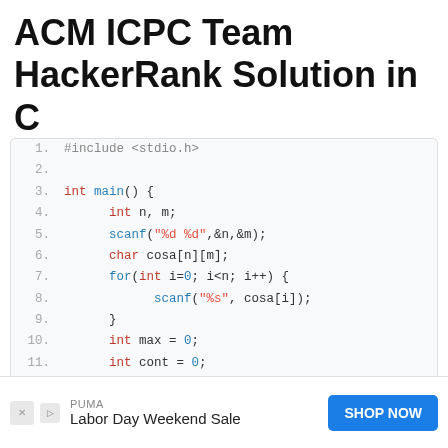ACM ICPC Team HackerRank Solution in C
[Figure (screenshot): Code block showing C solution with line numbers 1-19, containing #include <stdio.h>, int main(), variable declarations, scanf calls, nested for loops with variables i, j, k, and logic involving char array cosa[n][m], matches counter, and comparisons cosa[i][k] != cosa[j][k] || cosa[i][k]=='1']
PUMA Labor Day Weekend Sale [SHOP NOW advertisement]